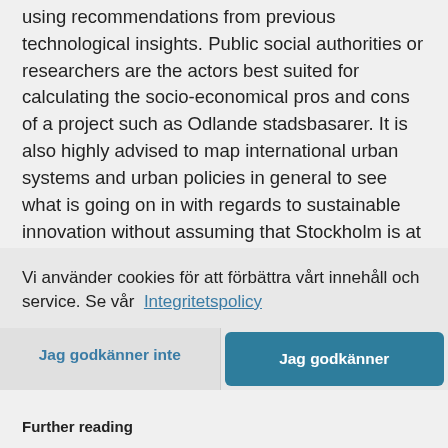using recommendations from previous technological insights. Public social authorities or researchers are the actors best suited for calculating the socio-economical pros and cons of a project such as Odlande stadsbasarer. It is also highly advised to map international urban systems and urban policies in general to see what is going on in with regards to sustainable innovation without assuming that Stockholm is at the forefront – which is far from always the case.
Vi använder cookies för att förbättra vårt innehåll och service. Se vår Integritetspolicy
Jag godkänner inte
Jag godkänner
Further reading